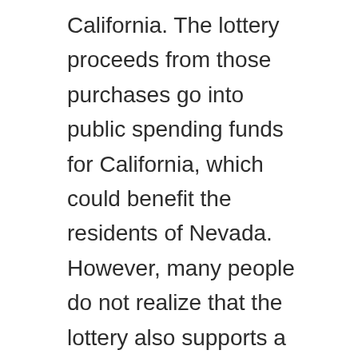California. The lottery proceeds from those purchases go into public spending funds for California, which could benefit the residents of Nevada. However, many people do not realize that the lottery also supports a number of other non-donor organizations. For this reason, most state governments require a license for lottery operators.
In order to avoid violating this rule, users should always contact the Rhode Island Lottery to report any suspicious activities or activity. To prevent this, the lottery asks its visitors to read the Rhode Island lottery website and its rules and regulations. R...